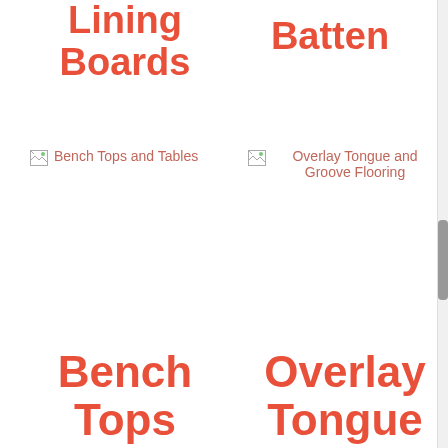Lining Boards
Batten
[Figure (other): Broken image placeholder for Bench Tops and Tables]
Bench Tops and Tables
[Figure (other): Broken image placeholder for Overlay Tongue and Groove Flooring]
Overlay Tongue and Groove Flooring
Bench Tops and Tables
Overlay Tongue and